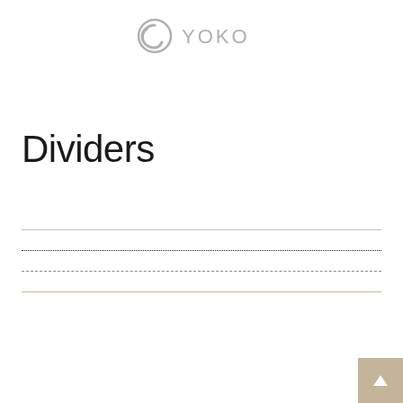YOKO
Dividers
[Figure (illustration): Four horizontal divider line styles: solid thin gray, dotted black, dashed gray, solid tan/beige]
[Figure (illustration): Back to top button arrow in tan/beige square at bottom right]